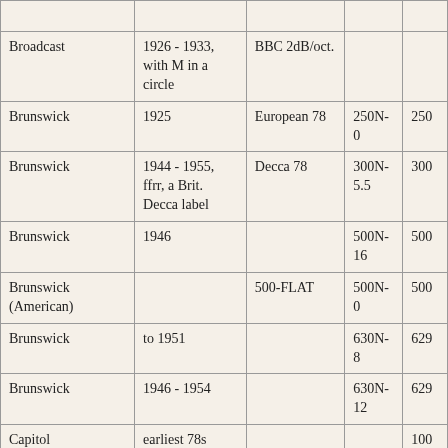| Label | Date | Curve | N-value |  |
| --- | --- | --- | --- | --- |
| Broadcast | 1926 - 1933, with M in a circle | BBC 2dB/oct. |  |  |
| Brunswick | 1925 | European 78 | 250N-0 | 250 |
| Brunswick | 1944 - 1955, ffrr, a Brit. Decca label | Decca 78 | 300N-5.5 | 300 |
| Brunswick | 1946 |  | 500N-16 | 500 |
| Brunswick (American) |  | 500-FLAT | 500N-0 | 500 |
| Brunswick | to 1951 |  | 630N-8 | 629 |
| Brunswick | 1946 - 1954 |  | 630N-12 | 629 |
| Capitol | earliest 78s |  |  | 100 |
| Capitol | 1942 (founded) to 1951 | American 78 | 250N-8 | 250 |
| Capitol | 1943 - 2... |  |  |  |